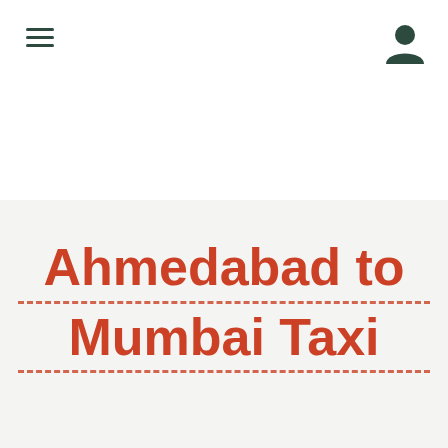[Figure (illustration): Hamburger menu icon (three horizontal lines) in dark teal color in the top-left corner]
[Figure (illustration): User/profile icon (person silhouette) in dark teal color in the top-right corner]
Ahmedabad to Mumbai Taxi